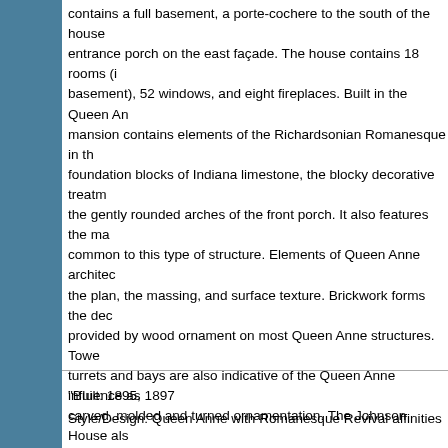contains a full basement, a porte-cochere to the south of the house entrance porch on the east façade. The house contains 18 rooms (i basement), 52 windows, and eight fireplaces. Built in the Queen An mansion contains elements of the Richardsonian Romanesque in th foundation blocks of Indiana limestone, the blocky decorative treatm the gently rounded arches of the front porch. It also features the ma common to this type of structure. Elements of Queen Anne architec the plan, the massing, and surface texture. Brickwork forms the dec provided by wood ornament on most Queen Anne structures. Towe turrets and bays are also indicative of the Queen Anne influence as carved, molded and turned ornamentation. The Johnson House als chimneys and gabled parapeted wall dormers accenting the roof on on the northeast corner is topped by a conical roof with gable dorm surfaces are smooth red brick laid in the common bond pattern and stone belt course and terracotta panels. Indiana limestone is used i porte-cochere as well as the foundation; all windows have a plain s Wilbur T. and Rhoda Stephens Johnson House retains a high level workmanship, materials, and design, in addition to its integrity of loc Nomination Form
"Built: 1895, 1897
Style/Design: Queen Anne with Romanesque Revival affinities